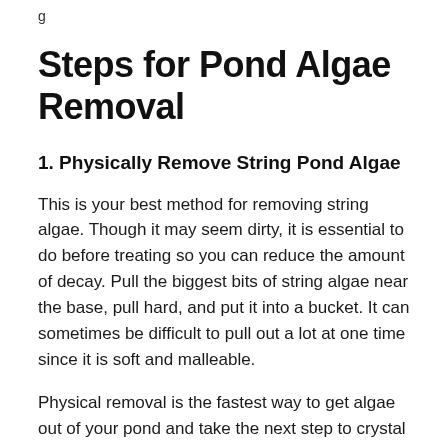g
Steps for Pond Algae Removal
1. Physically Remove String Pond Algae
This is your best method for removing string algae. Though it may seem dirty, it is essential to do before treating so you can reduce the amount of decay. Pull the biggest bits of string algae near the base, pull hard, and put it into a bucket. It can sometimes be difficult to pull out a lot at one time since it is soft and malleable.
Physical removal is the fastest way to get algae out of your pond and take the next step to crystal clear pond water. Winding around fingers/hands is the